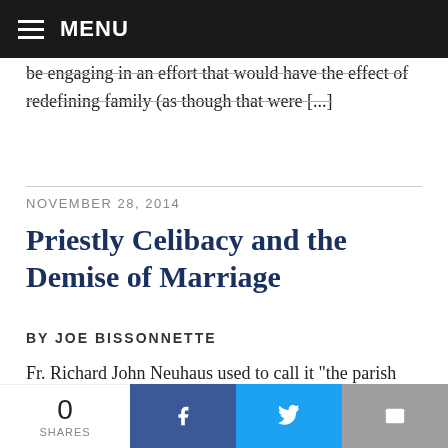MENU
be engaging in an effort that would have the effect of redefining family (as though that were [...]
NOVEMBER 28, 2014
Priestly Celibacy and the Demise of Marriage
BY JOE BISSONNETTE
Fr. Richard John Neuhaus used to call it “the parish paper,” a gentle barb at the pretensions of the self-